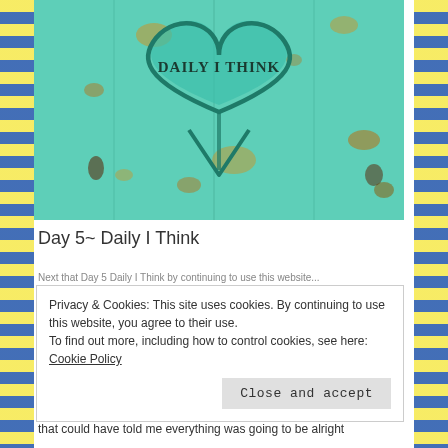[Figure (photo): Teal/turquoise painted wooden surface with a heart shape carved or painted into it. Text 'DAILY I THINK' written inside the heart in dark letters. Surface has rustic, weathered appearance with yellow/orange spots.]
Day 5~ Daily I Think
Privacy & Cookies: This site uses cookies. By continuing to use this website, you agree to their use. To find out more, including how to control cookies, see here: Cookie Policy
Close and accept
that could have told me everything was going to be alright